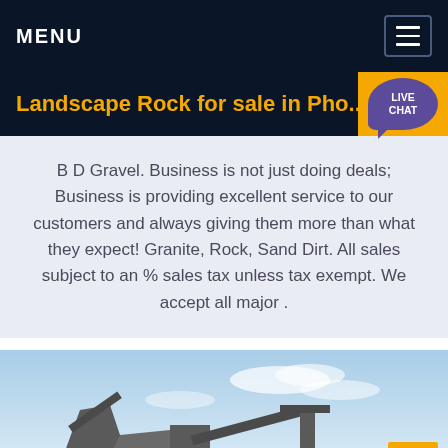MENU
Landscape Rock for sale in Pho...
B D Gravel. Business is not just doing deals; Business is providing excellent service to our customers and always giving them more than what they expect! Granite, Rock, Sand Dirt. All sales subject to an % sales tax unless tax exempt. We accept all major .
[Figure (photo): Outdoor photo of a gravel/rock crushing machinery and conveyor equipment against a blue sky backdrop, partially visible at bottom of page.]